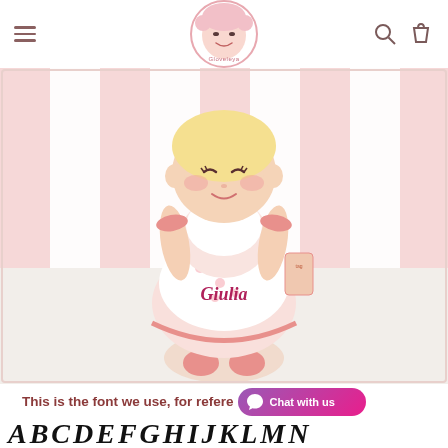Gloveleya — navigation header with hamburger menu, logo, search and cart icons
[Figure (photo): A stuffed fabric doll with blonde hair, rosy cheeks, and a floral pink dress embroidered with the name 'Giulia', sitting on a white faux-fur surface against a pink and white striped background. A product tag is visible on the right arm.]
This is the font we use, for refere...
ABCDEFGHIJKLMN...  (script/calligraphy alphabet reference)